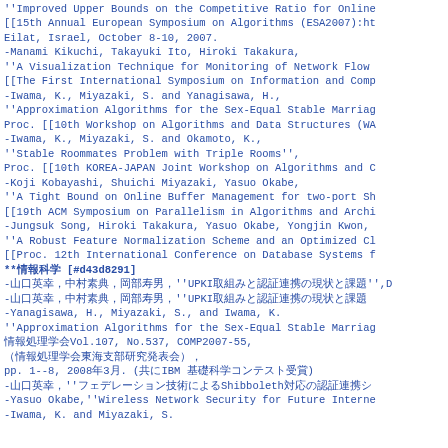''Improved Upper Bounds on the Competitive Ratio for Online...
[[15th Annual European Symposium on Algorithms (ESA2007):ht...
Eilat, Israel, October 8-10, 2007.
-Manami Kikuchi, Takayuki Ito, Hiroki Takakura,
''A Visualization Technique for Monitoring of Network Flow...
[[The First International Symposium on Information and Comp...
-Iwama, K., Miyazaki, S. and Yanagisawa, H.,
''Approximation Algorithms for the Sex-Equal Stable Marriag...
Proc. [[10th Workshop on Algorithms and Data Structures (WA...
-Iwama, K., Miyazaki, S. and Okamoto, K.,
''Stable Roommates Problem with Triple Rooms'',
Proc. [[10th KOREA-JAPAN Joint Workshop on Algorithms and C...
-Koji Kobayashi, Shuichi Miyazaki, Yasuo Okabe,
''A Tight Bound on Online Buffer Management for two-port Sh...
[[19th ACM Symposium on Parallelism in Algorithms and Archi...
-Jungsuk Song, Hiroki Takakura, Yasuo Okabe, Yongjin Kwon,...
''A Robust Feature Normalization Scheme and an Optimized Cl...
[[Proc. 12th International Conference on Database Systems f...
**情報科学 [#d43d8291]
-山口英幸,中村素典,岡部寿男,''UPKI取組みと認証連携の現状と課題'',D...
-山口英幸,中村素典,岡部寿男,''UPKI取組みと認証連携の現状と課題...
-Yanagisawa, H., Miyazaki, S., and Iwama, K.
''Approximation Algorithms for the Sex-Equal Stable Marriag...
情報処理学会Vol.107, No.537, COMP2007-55,
(情報処理学会東海支部研究発表会),
pp. 1--8, 2008年3月. (共にIBM 基礎科学コンテスト受賞)
-山口英幸,''フェデレーション技術によるShibboleth対応の認証連携シ...
-Yasuo Okabe,''Wireless Network Security for Future Interne...
-Iwama, K. and Miyazaki, S.